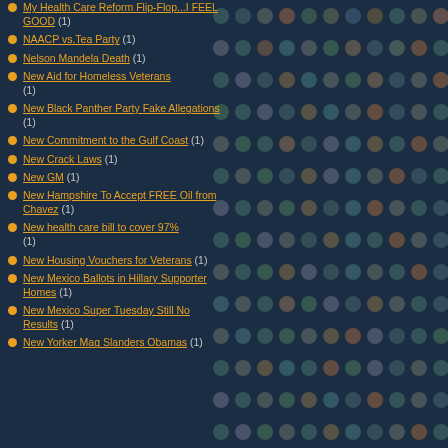My Health Care Reform Flip-Flop...I FEEL GOOD (1)
NAACP vs.Tea Party (1)
Nelson Mandela Death (1)
New Aid for Homeless Veterans (1)
New Black Panther Party Fake Allegations (1)
New Commitment to the Gulf Coast (1)
New Crack Laws (1)
New GM (1)
New Hampshire To Accept FREE Oil from Chavez (1)
New health care bill to cover 97% (1)
New Housing Vouchers for Veterans (1)
New Mexico Ballots in Hillary Supporter Homes (1)
New Mexico Super Tuesday Still No Results (1)
New Yorker Mag Slanders Obamas (1)